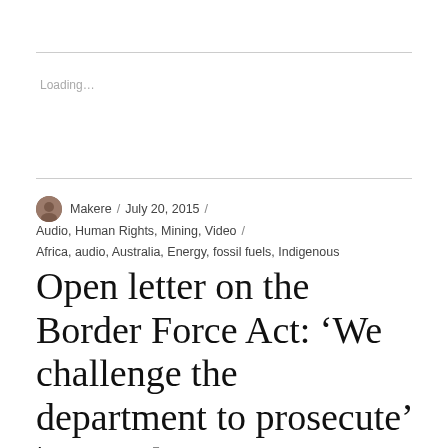Loading…
Makere / July 20, 2015 / Audio, Human Rights, Mining, Video / Africa, audio, Australia, Energy, fossil fuels, Indigenous
Open letter on the Border Force Act: 'We challenge the department to prosecute' | Australia